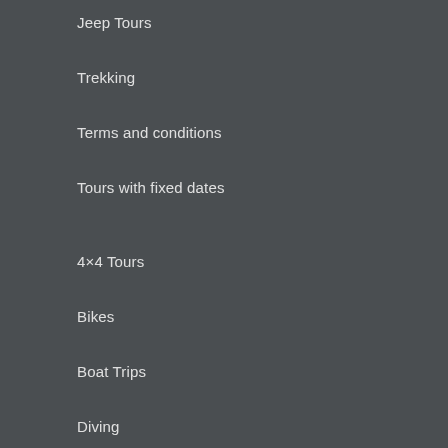Jeep Tours
Trekking
Terms and conditions
Tours with fixed dates
4×4 Tours
Bikes
Boat Trips
Diving
Ecotourism
Esoteric
Excursions
Car rental
Falconry
Fishing
Folklore Shows
Health Improvement
Helicopter
Horse Games